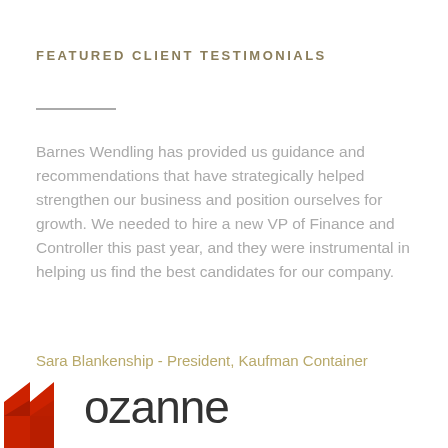FEATURED CLIENT TESTIMONIALS
Barnes Wendling has provided us guidance and recommendations that have strategically helped strengthen our business and position ourselves for growth. We needed to hire a new VP of Finance and Controller this past year, and they were instrumental in helping us find the best candidates for our company.
Sara Blankenship - President, Kaufman Container
[Figure (logo): Ozanne logo with red geometric chevron/building icon on the left and the word 'ozanne' in dark grey text on the right]